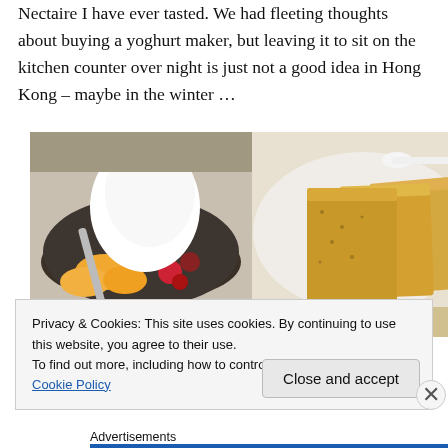Nectaire I have ever tasted. We had fleeting thoughts about buying a yoghurt maker, but leaving it to sit on the kitchen counter over night is just not a good idea in Hong Kong – maybe in the winter …
[Figure (photo): Two food photos side by side: left shows a bowl of mixed fruit with a large dollop of white cream/yoghurt on top; right shows three slices of golden pound cake or loaf cake on a white plate.]
[Figure (photo): Partial strip of another food photo visible at the bottom edge of the images area.]
Privacy & Cookies: This site uses cookies. By continuing to use this website, you agree to their use.
To find out more, including how to control cookies, see here: Cookie Policy
Close and accept
Advertisements